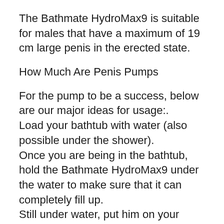The Bathmate HydroMax9 is suitable for males that have a maximum of 19 cm large penis in the erected state.
How Much Are Penis Pumps
For the pump to be a success, below are our major ideas for usage:.
Load your bathtub with water (also possible under the shower).
Once you are being in the bathtub, hold the Bathmate HydroMax9 under the water to make sure that it can completely fill up.
Still under water, put him on your penis.
Currently push the pump against your belly till a vacuum cleaner is produced. You must have the ability to feel the stress rise. Do not